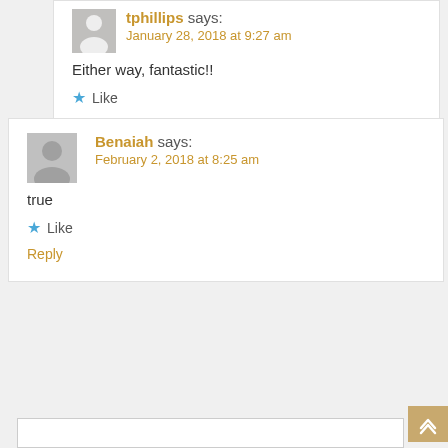tphillips says:
January 28, 2018 at 9:27 am
Either way, fantastic!!
Like
Reply
Benaiah says:
February 2, 2018 at 8:25 am
true
Like
Reply